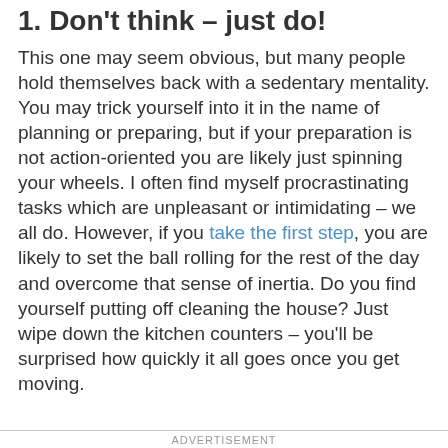1. Don't think – just do!
This one may seem obvious, but many people hold themselves back with a sedentary mentality. You may trick yourself into it in the name of planning or preparing, but if your preparation is not action-oriented you are likely just spinning your wheels. I often find myself procrastinating tasks which are unpleasant or intimidating – we all do. However, if you take the first step, you are likely to set the ball rolling for the rest of the day and overcome that sense of inertia. Do you find yourself putting off cleaning the house? Just wipe down the kitchen counters – you'll be surprised how quickly it all goes once you get moving.
ADVERTISEMENT